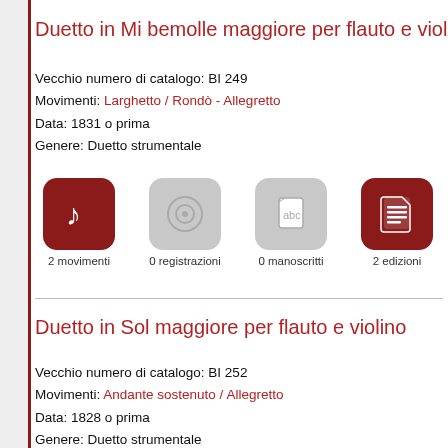Duetto in Mi bemolle maggiore per flauto e violino
Vecchio numero di catalogo: BI 249
Movimenti: Larghetto / Rondò - Allegretto
Data: 1831 o prima
Genere: Duetto strumentale
[Figure (infographic): Four icon buttons: music note (2 movimenti), CD disc (0 registrazioni), ABC document (0 manoscritti), document list (2 edizioni)]
Duetto in Sol maggiore per flauto e violino
Vecchio numero di catalogo: BI 252
Movimenti: Andante sostenuto / Allegretto
Data: 1828 o prima
Genere: Duetto strumentale